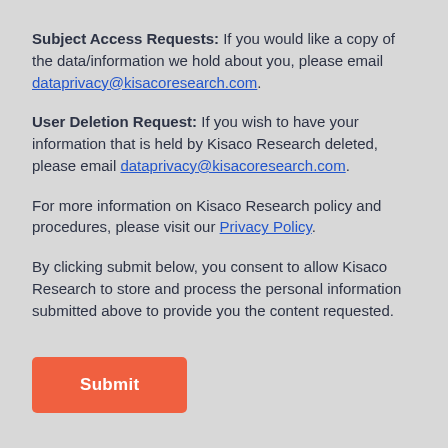Subject Access Requests: If you would like a copy of the data/information we hold about you, please email dataprivacy@kisacoresearch.com.
User Deletion Request: If you wish to have your information that is held by Kisaco Research deleted, please email dataprivacy@kisacoresearch.com.
For more information on Kisaco Research policy and procedures, please visit our Privacy Policy.
By clicking submit below, you consent to allow Kisaco Research to store and process the personal information submitted above to provide you the content requested.
Submit